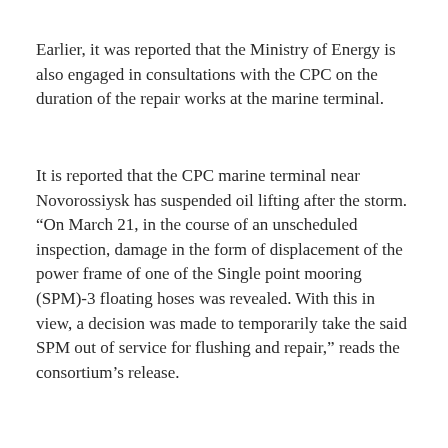Earlier, it was reported that the Ministry of Energy is also engaged in consultations with the CPC on the duration of the repair works at the marine terminal.
It is reported that the CPC marine terminal near Novorossiysk has suspended oil lifting after the storm. “On March 21, in the course of an unscheduled inspection, damage in the form of displacement of the power frame of one of the Single point mooring (SPM)-3 floating hoses was revealed. With this in view, a decision was made to temporarily take the said SPM out of service for flushing and repair,” reads the consortium’s release.